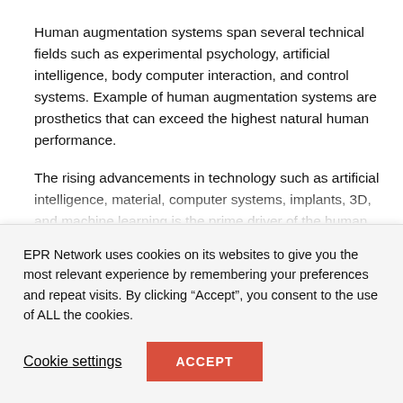Human augmentation systems span several technical fields such as experimental psychology, artificial intelligence, body computer interaction, and control systems. Example of human augmentation systems are prosthetics that can exceed the highest natural human performance.
The rising advancements in technology such as artificial intelligence, material, computer systems, implants, 3D, and machine learning is the prime driver of the human augmentation systems market. The development of artificial intelligence which can mimic human functions...
EPR Network uses cookies on its websites to give you the most relevant experience by remembering your preferences and repeat visits. By clicking “Accept”, you consent to the use of ALL the cookies.
Cookie settings
ACCEPT